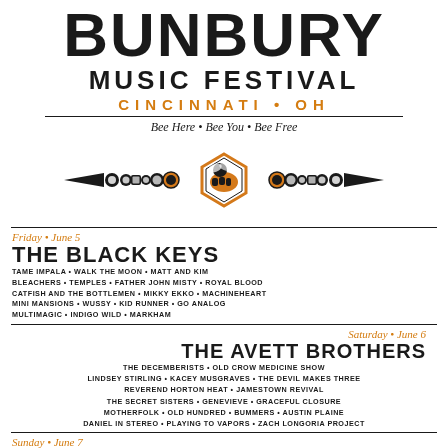BUNBURY
MUSIC FESTIVAL
CINCINNATI • OH
Bee Here • Bee You • Bee Free
[Figure (illustration): Decorative bee logo with ornamental spoke design, hexagon frame around a bee, flanked by circular nodes and sharp spear-like extensions on each side]
Friday • June 5
THE BLACK KEYS
TAME IMPALA • WALK THE MOON • MATT AND KIM
BLEACHERS • TEMPLES • FATHER JOHN MISTY • ROYAL BLOOD
CATFISH AND THE BOTTLEMEN • MIKKY EKKO • MACHINEHEART
MINI MANSIONS • WUSSY • KID RUNNER • GO ANALOG
MULTIMAGIC • INDIGO WILD • MARKHAM
Saturday • June 6
THE AVETT BROTHERS
THE DECEMBERISTS • OLD CROW MEDICINE SHOW
LINDSEY STIRLING • KACEY MUSGRAVES • THE DEVIL MAKES THREE
REVEREND HORTON HEAT • JAMESTOWN REVIVAL
THE SECRET SISTERS • GENEVIEVE • GRACEFUL CLOSURE
MOTHERFOLK • OLD HUNDRED • BUMMERS • AUSTIN PLAINE
DANIEL IN STEREO • PLAYING TO VAPORS • ZACH LONGORIA PROJECT
Sunday • June 7
SNOOP DOGG